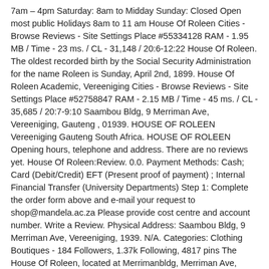7am – 4pm Saturday: 8am to Midday Sunday: Closed Open most public Holidays 8am to 11 am House Of Roleen Cities - Browse Reviews - Site Settings Place #55334128 RAM - 1.95 MB / Time - 23 ms. / CL - 31,148 / 20:6-12:22 House Of Roleen. The oldest recorded birth by the Social Security Administration for the name Roleen is Sunday, April 2nd, 1899. House Of Roleen Academic, Vereeniging Cities - Browse Reviews - Site Settings Place #52758847 RAM - 2.15 MB / Time - 45 ms. / CL - 35,685 / 20:7-9:10 Saambou Bldg, 9 Merriman Ave, Vereeniging, Gauteng , 01939. HOUSE OF ROLEEN Vereeniging Gauteng South Africa. HOUSE OF ROLEEN Opening hours, telephone and address. There are no reviews yet. House Of Roleen:Review. 0.0. Payment Methods: Cash; Card (Debit/Credit) EFT (Present proof of payment) ; Internal Financial Transfer (University Departments) Step 1: Complete the order form above and e-mail your request to shop@mandela.ac.za Please provide cost centre and account number. Write a Review. Physical Address: Saambou Bldg, 9 Merriman Ave, Vereeniging, 1939. N/A. Categories: Clothing Boutiques - 184 Followers, 1.37k Following, 4817 pins The House Of Roleen, located at Merrimanbldg, Merriman Ave, Vereeniging. As of this date, Roleen is married. Categories: Clothing Boutiques, Address: Shop 2 Sanlam Bldg Voortrekker Rd, Rensburg, Heidelberg G, 1441, South Africa, Gauteng. HOUSE OF ROLEEN. House of Roleen Boutique Merriman Ave Emfuleni - Clothing & Accessories. N/A. 610. Find the best results for Dog Houses in Vereeniging, Gauteng. Evaluations of House Of Roleen Clothing: To evaluate this company please Login or Register . However, the institution has made